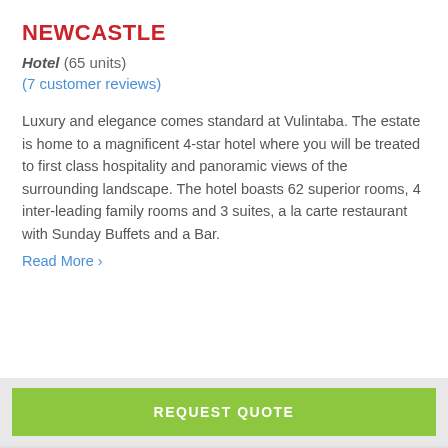NEWCASTLE
Hotel (65 units)
(7 customer reviews)
Luxury and elegance comes standard at Vulintaba. The estate is home to a magnificent 4-star hotel where you will be treated to first class hospitality and panoramic views of the surrounding landscape. The hotel boasts 62 superior rooms, 4 inter-leading family rooms and 3 suites, a la carte restaurant with Sunday Buffets and a Bar.
Read More ›
REQUEST QUOTE